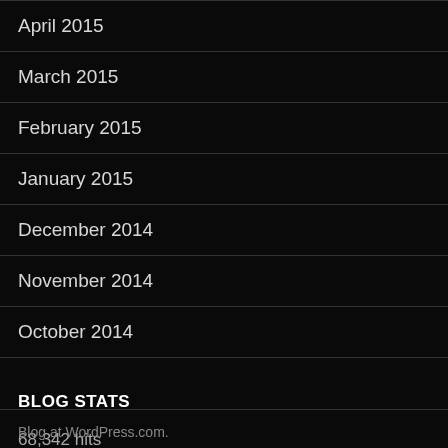April 2015
March 2015
February 2015
January 2015
December 2014
November 2014
October 2014
BLOG STATS
68,342 hits
Blog at WordPress.com.